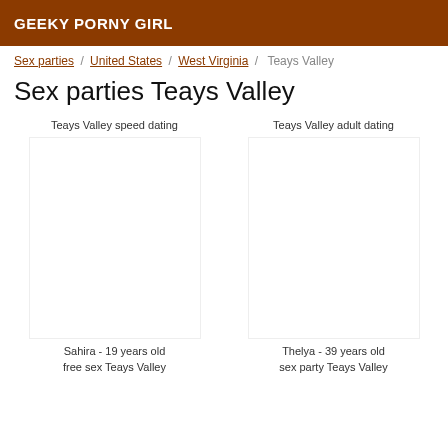GEEKY PORNY GIRL
Sex parties / United States / West Virginia / Teays Valley
Sex parties Teays Valley
Teays Valley speed dating
Teays Valley adult dating
Sahira - 19 years old
Thelya - 39 years old
free sex Teays Valley
sex party Teays Valley